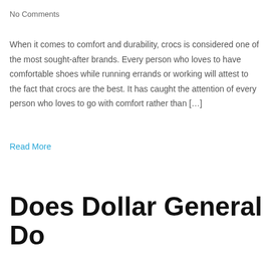No Comments
When it comes to comfort and durability, crocs is considered one of the most sought-after brands. Every person who loves to have comfortable shoes while running errands or working will attest to the fact that crocs are the best. It has caught the attention of every person who loves to go with comfort rather than […]
Read More
Does Dollar General Do